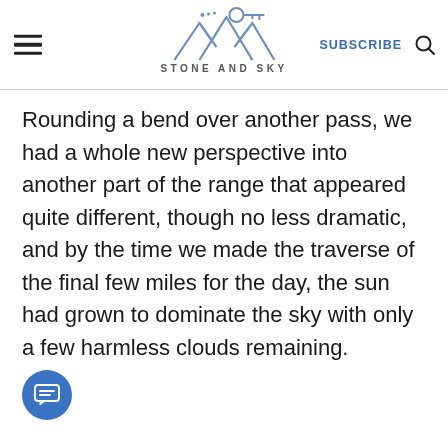STONE AND SKY — SUBSCRIBE
Rounding a bend over another pass, we had a whole new perspective into another part of the range that appeared quite different, though no less dramatic, and by the time we made the traverse of the final few miles for the day, the sun had grown to dominate the sky with only a few harmless clouds remaining.